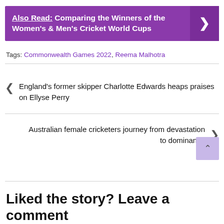Also Read: Comparing the Winners of the Women's & Men's Cricket World Cups
Tags: Commonwealth Games 2022, Reema Malhotra
England's former skipper Charlotte Edwards heaps praises on Ellyse Perry
Australian female cricketers journey from devastation to dominance
Liked the story? Leave a comment here.